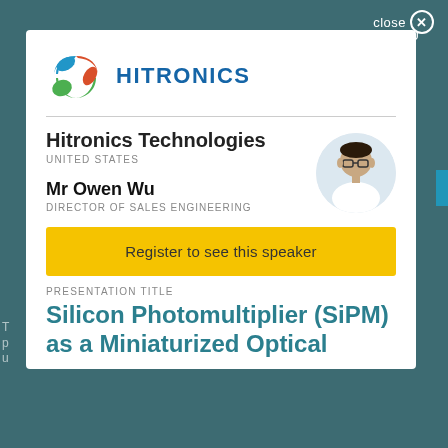[Figure (logo): Hitronics logo with colorful H icon and HITRONICS text in blue]
Hitronics Technologies
UNITED STATES
Mr Owen Wu
DIRECTOR OF SALES ENGINEERING
[Figure (photo): Headshot photo of Mr Owen Wu]
Register to see this speaker
PRESENTATION TITLE
Silicon Photomultiplier (SiPM) as a Miniaturized Optical